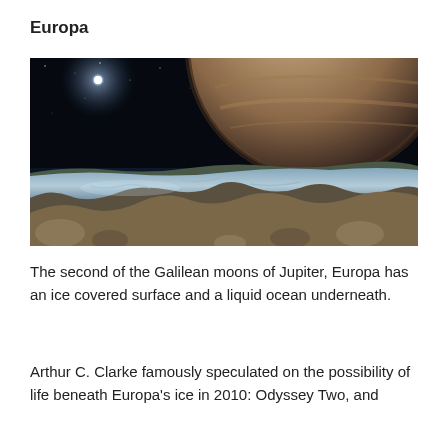Europa
[Figure (photo): Artist's impression view from Europa's icy surface showing Jupiter rising in the background against a starfield, with bright sunlight visible in the upper left. The foreground shows Europa's fractured, rocky ice terrain.]
The second of the Galilean moons of Jupiter, Europa has an ice covered surface and a liquid ocean underneath.
Arthur C. Clarke famously speculated on the possibility of life beneath Europa's ice in 2010: Odyssey Two, and